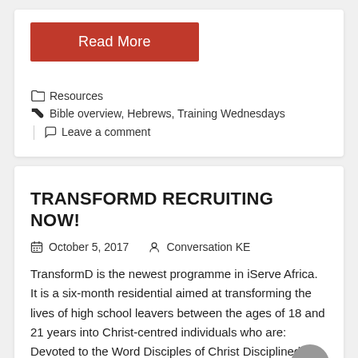Read More
Resources   Bible overview, Hebrews, Training Wednesdays   Leave a comment
TRANSFORMD RECRUITING NOW!
October 5, 2017   Conversation KE
TransformD is the newest programme in iServe Africa. It is a six-month residential aimed at transforming the lives of high school leavers between the ages of 18 and 21 years into Christ-centred individuals who are: Devoted to the Word Disciples of Christ Disciplined in following Christ Dependable in Christian ministry